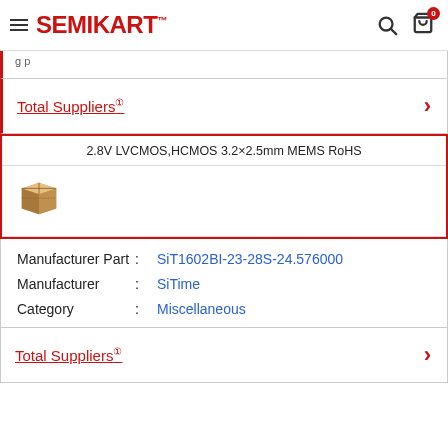SEMIKART
Total Suppliers
2.8V LVCMOS,HCMOS 3.2×2.5mm MEMS RoHS
| Field | Colon | Value |
| --- | --- | --- |
| Manufacturer Part | : | SiT1602BI-23-28S-24.576000 |
| Manufacturer | : | SiTime |
| Category | : | Miscellaneous |
Total Suppliers